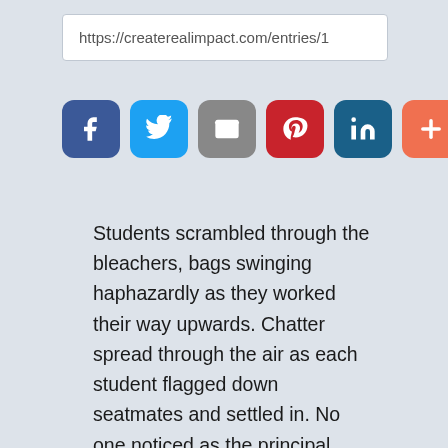https://createrealimpact.com/entries/1
[Figure (infographic): Six social sharing icon buttons: Facebook (dark blue), Twitter (light blue), Email (gray), Pinterest (red), LinkedIn (dark teal), More/Plus (orange-red)]
Students scrambled through the bleachers, bags swinging haphazardly as they worked their way upwards. Chatter spread through the air as each student flagged down seatmates and settled in. No one noticed as the principal made his way to the gym